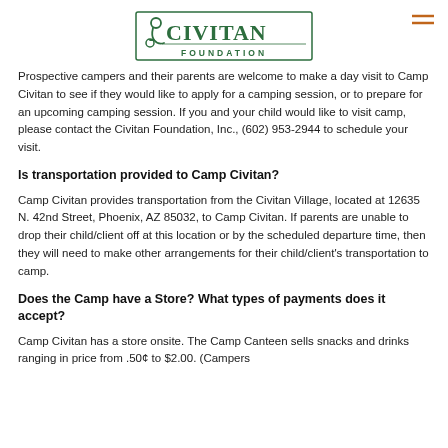CIVITAN FOUNDATION
Prospective campers and their parents are welcome to make a day visit to Camp Civitan to see if they would like to apply for a camping session, or to prepare for an upcoming camping session. If you and your child would like to visit camp, please contact the Civitan Foundation, Inc., (602) 953-2944 to schedule your visit.
Is transportation provided to Camp Civitan?
Camp Civitan provides transportation from the Civitan Village, located at 12635 N. 42nd Street, Phoenix, AZ 85032, to Camp Civitan. If parents are unable to drop their child/client off at this location or by the scheduled departure time, then they will need to make other arrangements for their child/client's transportation to camp.
Does the Camp have a Store? What types of payments does it accept?
Camp Civitan has a store onsite. The Camp Canteen sells snacks and drinks ranging in price from .50¢ to $2.00. (Campers